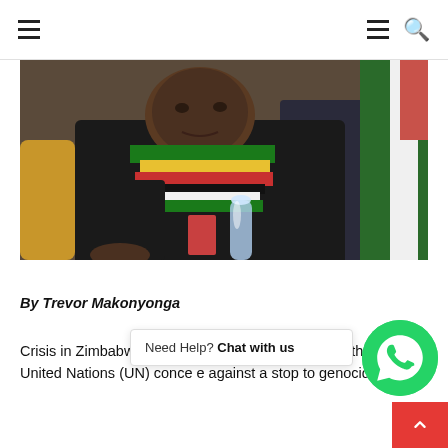Navigation header with hamburger menu and search icon
[Figure (photo): A man wearing a Zimbabwe-colored scarf (green, yellow, red, black, white) in a dark suit, seated at what appears to be a formal meeting. Another person in a dark suit is partially visible in the background, and a flag with green and white stripes is visible on the right.]
By Trevor Makonyonga
Crisis in Zimbabwe Coalition has penned a letter to the United Nations (UN) conce… e… against a stop to genocide.